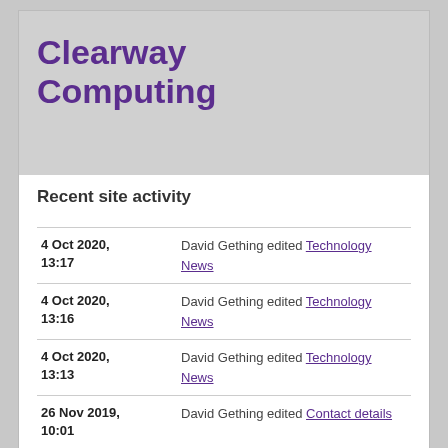Clearway Computing
Recent site activity
4 Oct 2020, 13:17 — David Gething edited Technology News
4 Oct 2020, 13:16 — David Gething edited Technology News
4 Oct 2020, 13:13 — David Gething edited Technology News
26 Nov 2019, 10:01 — David Gething edited Contact details
22 Dec 2018, 04:54 — David Gething edited Contact details
7 May 2018, — David Gething edited Technology News